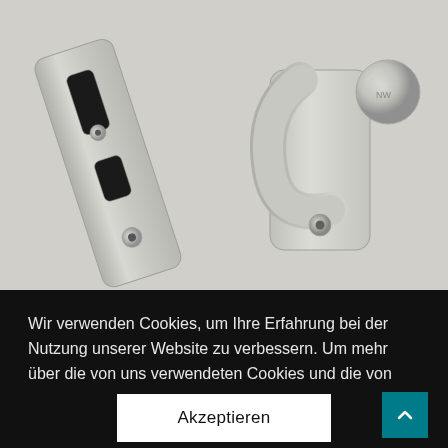[Figure (photo): Close-up photo of brushed stainless steel door hardware — a strike plate with elongated slots and countersunk screw holes on the left, and a hook-style latch mechanism with a cylindrical knob on the right, all against a white background.]
Wir verwenden Cookies, um Ihre Erfahrung bei der Nutzung unserer Website zu verbessern. Um mehr über die von uns verwendeten Cookies und die von uns gesammelten Daten zu erfahren, besuchen Sie bitte unser Datenschutz-Einstellungen.
Akzeptieren